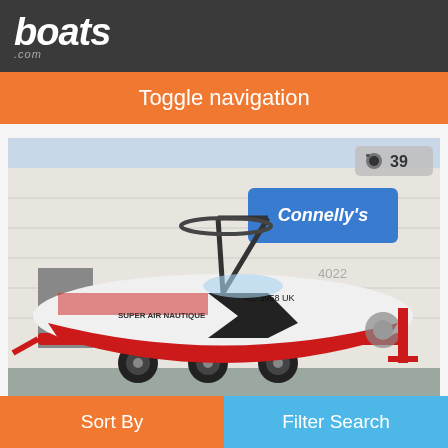boats.com
Toggle navigation
[Figure (photo): Red and white Nautique G23 wakeboard boat on a red trailer parked in front of a building with a dealer logo. Boat registration number MC 3958 UK visible on hull. Tower and wake surf accessories installed.]
Nautique G23
Comstock Park, Michigan, United States
Sort By    Filter Search